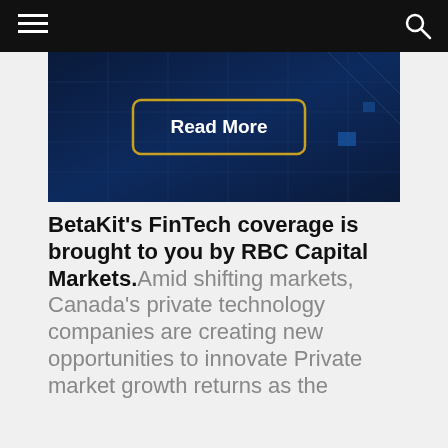BetaKit navigation header
[Figure (screenshot): Dark blue tech/finance background image with a 'Read More' button in a gold rounded rectangle border in the center]
BetaKit's FinTech coverage is brought to you by RBC Capital Markets. Amid shifting markets, Canada's private technology companies are creating new opportunities to innovate Private market growth returns as the